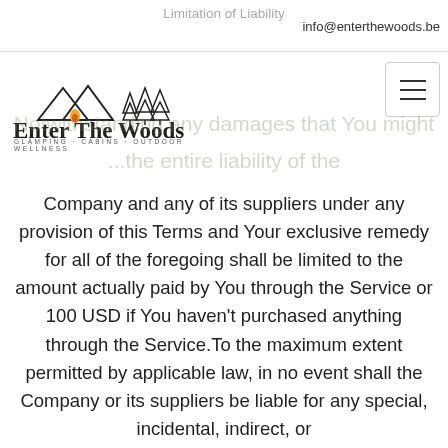Limitation of Liability   info@enterthewoods.be
[Figure (logo): Enter The Woods logo with mountains, trees, and fire icon. Text reads 'Enter The Woods' with tagline 'GLAMPING · CABINS · OUTDOOR WELLNESS']
Notwithstanding any damages that You might...the entire liability of the Company and any of its suppliers under any provision of this Terms and Your exclusive remedy for all of the foregoing shall be limited to the amount actually paid by You through the Service or 100 USD if You haven't purchased anything through the Service.To the maximum extent permitted by applicable law, in no event shall the Company or its suppliers be liable for any special, incidental, indirect, or